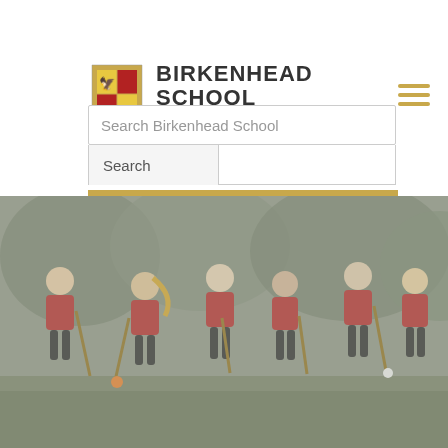[Figure (logo): Birkenhead School crest/coat of arms logo]
BIRKENHEAD SCHOOL
THE PREP
Search Birkenhead School
Search
[Figure (photo): Group of young girls in red school sports uniforms carrying field hockey sticks, smiling and walking on an outdoor hockey pitch, misty background with trees]